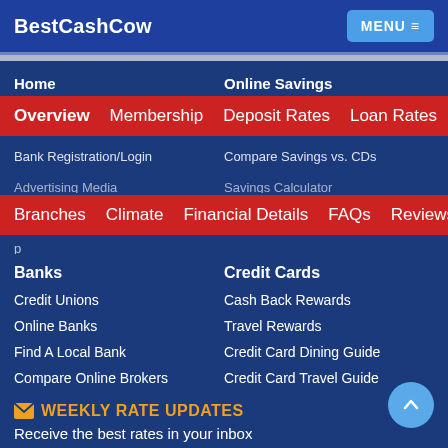BestCashCow  MENU
Home
Online Savings
Overview  Membership  Deposit Rates  Loan Rates
Bank Registration/Login
Compare Savings vs. CDs
Branches  Climate  Financial Details  FAQs  Reviews
Banks
Credit Cards
Credit Unions
Cash Back Rewards
Online Banks
Travel Rewards
Find A Local Bank
Credit Card Dining Guide
Compare Online Brokers
Credit Card Travel Guide
WEEKLY RATE UPDATES
Receive the best rates in your inbox